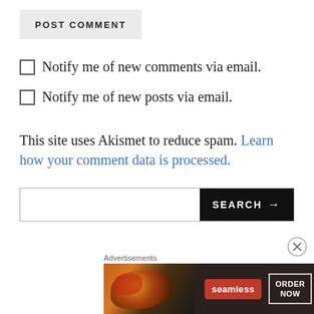POST COMMENT
Notify me of new comments via email.
Notify me of new posts via email.
This site uses Akismet to reduce spam. Learn how your comment data is processed.
[Figure (screenshot): Search bar with black SEARCH button and arrow]
[Figure (screenshot): Close/dismiss circle button (X)]
Advertisements
[Figure (photo): Seamless food delivery advertisement banner showing pizza with ORDER NOW button]